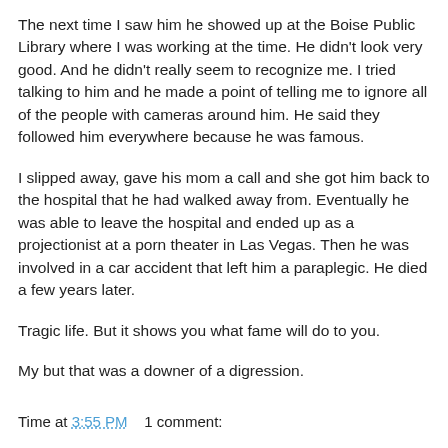The next time I saw him he showed up at the Boise Public Library where I was working at the time. He didn't look very good. And he didn't really seem to recognize me. I tried talking to him and he made a point of telling me to ignore all of the people with cameras around him. He said they followed him everywhere because he was famous.
I slipped away, gave his mom a call and she got him back to the hospital that he had walked away from. Eventually he was able to leave the hospital and ended up as a projectionist at a porn theater in Las Vegas. Then he was involved in a car accident that left him a paraplegic. He died a few years later.
Tragic life. But it shows you what fame will do to you.
My but that was a downer of a digression.
Time at 3:55 PM    1 comment: